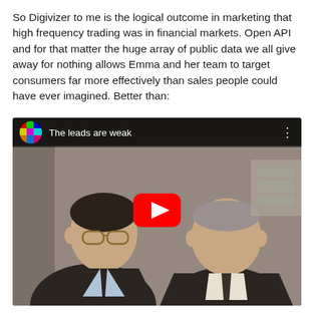So Digivizer to me is the logical outcome in marketing that high frequency trading was in financial markets. Open API and for that matter the huge array of public data we all give away for nothing allows Emma and her team to target consumers far more effectively than sales people could have ever imagined. Better than:
[Figure (screenshot): YouTube video thumbnail showing two men in suits in a scene from what appears to be Glengarry Glen Ross. The video title reads 'The leads are weak'. A YouTube play button is centered on the image. A colorful avatar icon is shown in the top-left of the video player.]